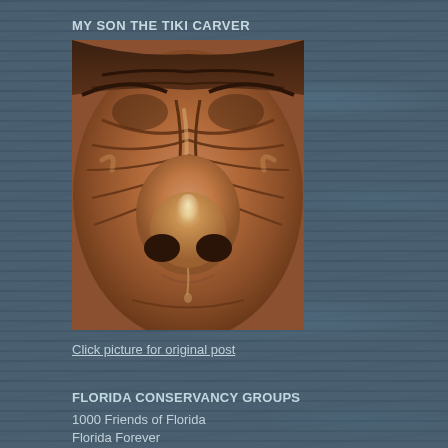MY SON THE TIKI CARVER
[Figure (photo): Close-up photograph of a carved wooden Tiki face showing detailed nose and facial features in warm brown tones]
Click picture for original post
FLORIDA CONSERVANCY GROUPS
1000 Friends of Florida
Florida Forever